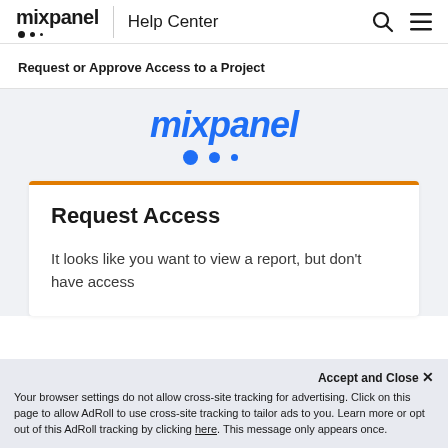mixpanel | Help Center
Request or Approve Access to a Project
[Figure (logo): Mixpanel logo in large blue italic text with three blue dots beneath]
Request Access
It looks like you want to view a report, but don't have access
Accept and Close ✕ Your browser settings do not allow cross-site tracking for advertising. Click on this page to allow AdRoll to use cross-site tracking to tailor ads to you. Learn more or opt out of this AdRoll tracking by clicking here. This message only appears once.